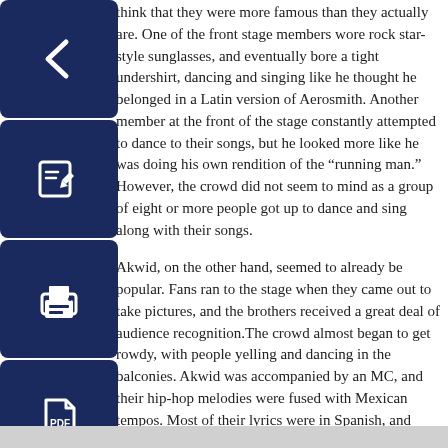[Figure (illustration): Four dark navy blue icon buttons in a vertical column on the left side: back arrow, edit/pencil, print, and PDF document icons]
think that they were more famous than they actually are. One of the front stage members wore rock star-style sunglasses, and eventually bore a tight undershirt, dancing and singing like he thought he belonged in a Latin version of Aerosmith. Another member at the front of the stage constantly attempted to dance to their songs, but he looked more like he was doing his own rendition of the “running man.” However, the crowd did not seem to mind as a group of eight or more people got up to dance and sing along with their songs.
Akwid, on the other hand, seemed to already be popular. Fans ran to the stage when they came out to take pictures, and the brothers received a great deal of audience recognition.The crowd almost began to get rowdy, with people yelling and dancing in the balconies. Akwid was accompanied by an MC, and their hip-hop melodies were fused with Mexican tempos. Most of their lyrics were in Spanish, and their high energy and enthusiasm made for an amazing performance.
The Musica Fresca Tour offered a night of diversity, energy and culture. The language and fusion of so many different musical styles created an obvious bond within the audience, and made American Top 40 music look like something a toddler could compose.